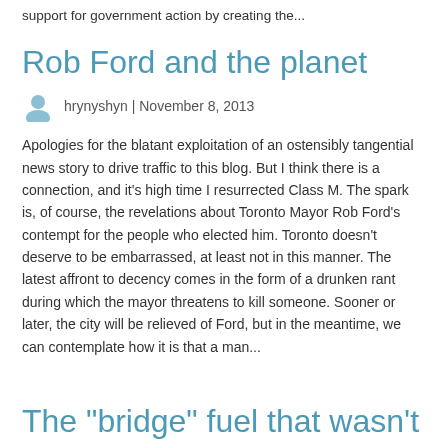support for government action by creating the...
Rob Ford and the planet
hrynyshyn | November 8, 2013
Apologies for the blatant exploitation of an ostensibly tangential news story to drive traffic to this blog. But I think there is a connection, and it's high time I resurrected Class M. The spark is, of course, the revelations about Toronto Mayor Rob Ford's contempt for the people who elected him. Toronto doesn't deserve to be embarrassed, at least not in this manner. The latest affront to decency comes in the form of a drunken rant during which the mayor threatens to kill someone. Sooner or later, the city will be relieved of Ford, but in the meantime, we can contemplate how it is that a man...
The "bridge" fuel that wasn't
hrynyshyn | March 14, 2013
Among those who spend their working lives and/or spare time